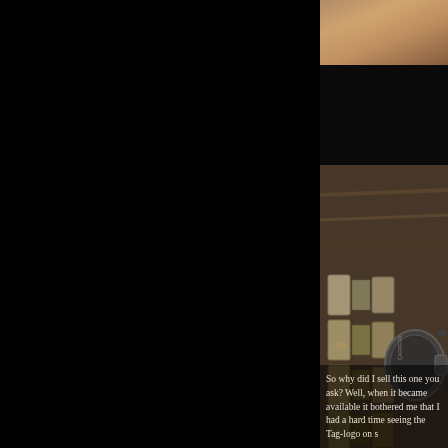[Figure (photo): Top portion of a close-up photo of a watch bracelet and case on a wooden surface, cropped in upper right. Dark wood grain visible.]
[Figure (photo): Close-up macro photograph of a wristwatch showing the bracelet links and crown/case side detail. The watch appears to be a steel sports watch. The image occupies the right column of the page with very dark/black background on the left.]
So why did I sell this one you ask? Well, when it became available it bothered me that I had a hard time seeing the Tag-logo on s